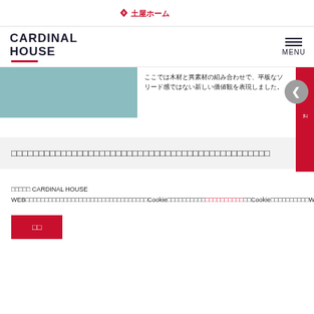土屋ホーム (Tsuchiya Home logo)
[Figure (logo): CARDINAL HOUSE logo with red underline accent, and hamburger menu icon with MENU text]
ここでは木材と異素材の組み合わせで、平板なソリード感ではない新しい価値観を表現しました。
お問い合わせ (Contact us sidebar button)
□□□□□□□□□□□□□□□□□□□□□□□□□□□□□□□□□□□□□□□□□□□□□
□□□□□ CARDINAL HOUSE WEB□□□□□□□□□□□□□□□□□□□□□□□□□□□□□□□□Cookie□□□□□□□□□□□□□□□□□□Cookie□□□□□□□□□□WEB□□□□□□□□□□□□□□□Cookie□□□□□□□□□□□□□□□□□□□□□□□□
□□